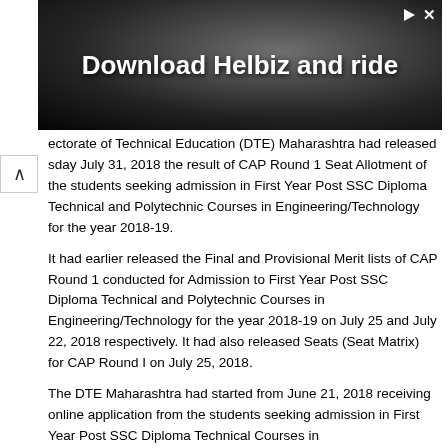[Figure (photo): Advertisement banner showing 'Download Helbiz and ride' text over a dark street/urban background with camera/media equipment visible]
ectorate of Technical Education (DTE) Maharashtra had released sday July 31, 2018 the result of CAP Round 1 Seat Allotment of the students seeking admission in First Year Post SSC Diploma Technical and Polytechnic Courses in Engineering/Technology for the year 2018-19.
It had earlier released the Final and Provisional Merit lists of CAP Round 1 conducted for Admission to First Year Post SSC Diploma Technical and Polytechnic Courses in Engineering/Technology for the year 2018-19 on July 25 and July 22, 2018 respectively. It had also released Seats (Seat Matrix) for CAP Round I on July 25, 2018.
The DTE Maharashtra had started from June 21, 2018 receiving online application from the students seeking admission in First Year Post SSC Diploma Technical Courses in Engineering/Technology Admissions. The last date of registration and document verification was July 16, which was later extended till July 20, 2018.
All types of candidates aspiring for admission under CAP seats shall register; get Documents Verified and Application Form confirmed at any designated Facilitation Center. Such eligible registered candidates shall be considered for CAP Merit and admission through CAP.
If candidates do not possess original SSC mark-sheet (Passed in 2018) at the time of document verification at FC, they may show online mark